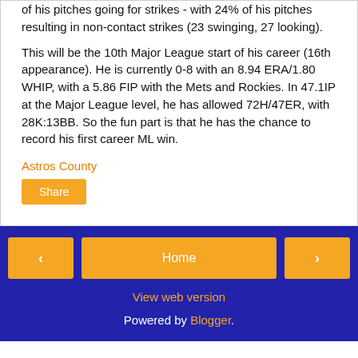of his pitches going for strikes - with 24% of his pitches resulting in non-contact strikes (23 swinging, 27 looking).
This will be the 10th Major League start of his career (16th appearance). He is currently 0-8 with an 8.94 ERA/1.80 WHIP, with a 5.86 FIP with the Mets and Rockies. In 47.1IP at the Major League level, he has allowed 72H/47ER, with 28K:13BB. So the fun part is that he has the chance to record his first career ML win.
Astros County
Share
Home | View web version | Powered by Blogger.